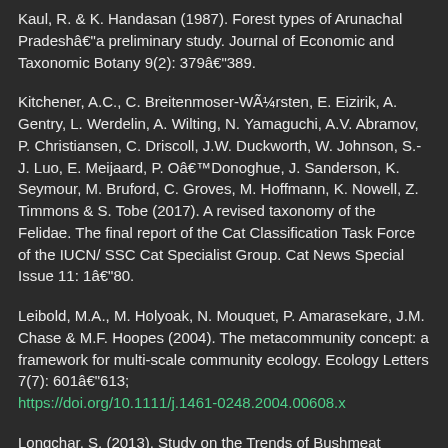Kaul, R. & K. Handasan (1987). Forest types of Arunachal Pradesh–a preliminary study. Journal of Economic and Taxonomic Botany 9(2): 379–389.
Kitchener, A.C., C. Breitenmoser-Würsten, E. Eizirik, A. Gentry, L. Werdelin, A. Wilting, N. Yamaguchi, A.V. Abramov, P. Christiansen, C. Driscoll, J.W. Duckworth, W. Johnson, S.-J. Luo, E. Meijaard, P. O'Donoghue, J. Sanderson, K. Seymour, M. Bruford, C. Groves, M. Hoffmann, K. Nowell, Z. Timmons & S. Tobe (2017). A revised taxonomy of the Felidae. The final report of the Cat Classification Task Force of the IUCN/ SSC Cat Specialist Group. Cat News Special Issue 11: 1–80.
Leibold, M.A., M. Holyoak, N. Mouquet, P. Amarasekare, J.M. Chase & M.F. Hoopes (2004). The metacommunity concept: a framework for multi-scale community ecology. Ecology Letters 7(7): 601–613; https://doi.org/10.1111/j.1461-0248.2004.00608.x
Longchar, S. (2013). Study on the Trends of Bushmeat Consumption and Traditional Hunting on Wild Fauna by Indigenous Community living near Protected Area in